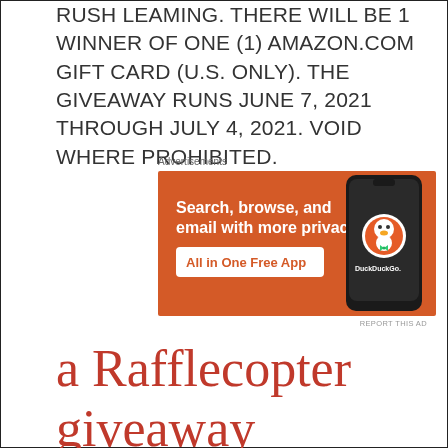RUSH LEAMING. THERE WILL BE 1 WINNER OF ONE (1) AMAZON.COM GIFT CARD (U.S. ONLY). THE GIVEAWAY RUNS JUNE 7, 2021 THROUGH JULY 4, 2021. VOID WHERE PROHIBITED.
Advertisements
[Figure (infographic): DuckDuckGo advertisement banner: orange background with text 'Search, browse, and email with more privacy. All in One Free App' and an image of a smartphone showing the DuckDuckGo app]
REPORT THIS AD
a Rafflecopter giveaway